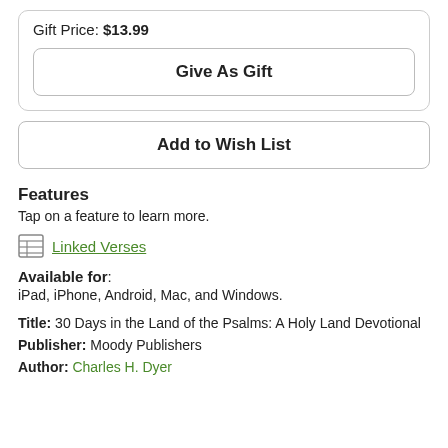Gift Price: $13.99
Give As Gift
Add to Wish List
Features
Tap on a feature to learn more.
Linked Verses
Available for: iPad, iPhone, Android, Mac, and Windows.
Title: 30 Days in the Land of the Psalms: A Holy Land Devotional
Publisher: Moody Publishers
Author: Charles H. Dyer